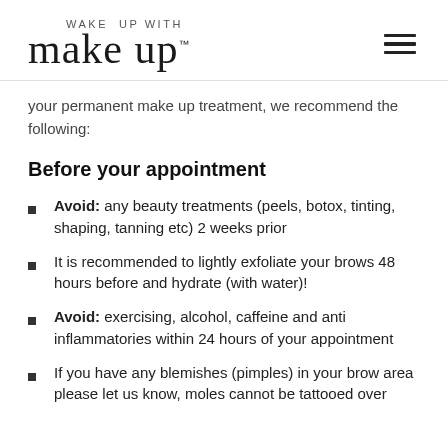WAKE UP WITH make up™
your permanent make up treatment, we recommend the following:
Before your appointment
Avoid: any beauty treatments (peels, botox, tinting, shaping, tanning etc) 2 weeks prior
It is recommended to lightly exfoliate your brows 48 hours before and hydrate (with water)!
Avoid: exercising, alcohol, caffeine and anti inflammatories within 24 hours of your appointment
If you have any blemishes (pimples) in your brow area please let us know, moles cannot be tattooed over